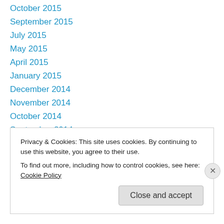October 2015
September 2015
July 2015
May 2015
April 2015
January 2015
December 2014
November 2014
October 2014
September 2014
August 2014
May 2012
January 2012
Privacy & Cookies: This site uses cookies. By continuing to use this website, you agree to their use.
To find out more, including how to control cookies, see here: Cookie Policy